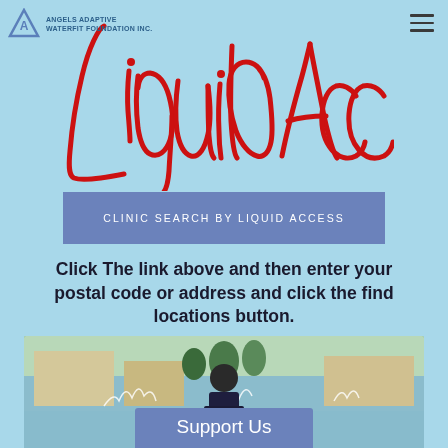ANGELS ADAPTIVE WATERFIT FOUNDATION INC.
Liquid Access
CLINIC SEARCH BY LIQUID ACCESS
Click The link above and then enter your postal code or address and click the find locations button.
[Figure (photo): Man sitting near water with splashing water around him, outdoors near a building]
Support Us